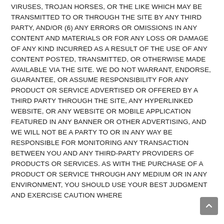VIRUSES, TROJAN HORSES, OR THE LIKE WHICH MAY BE TRANSMITTED TO OR THROUGH THE SITE BY ANY THIRD PARTY, AND/OR (6) ANY ERRORS OR OMISSIONS IN ANY CONTENT AND MATERIALS OR FOR ANY LOSS OR DAMAGE OF ANY KIND INCURRED AS A RESULT OF THE USE OF ANY CONTENT POSTED, TRANSMITTED, OR OTHERWISE MADE AVAILABLE VIA THE SITE. WE DO NOT WARRANT, ENDORSE, GUARANTEE, OR ASSUME RESPONSIBILITY FOR ANY PRODUCT OR SERVICE ADVERTISED OR OFFERED BY A THIRD PARTY THROUGH THE SITE, ANY HYPERLINKED WEBSITE, OR ANY WEBSITE OR MOBILE APPLICATION FEATURED IN ANY BANNER OR OTHER ADVERTISING, AND WE WILL NOT BE A PARTY TO OR IN ANY WAY BE RESPONSIBLE FOR MONITORING ANY TRANSACTION BETWEEN YOU AND ANY THIRD-PARTY PROVIDERS OF PRODUCTS OR SERVICES. AS WITH THE PURCHASE OF A PRODUCT OR SERVICE THROUGH ANY MEDIUM OR IN ANY ENVIRONMENT, YOU SHOULD USE YOUR BEST JUDGMENT AND EXERCISE CAUTION WHERE